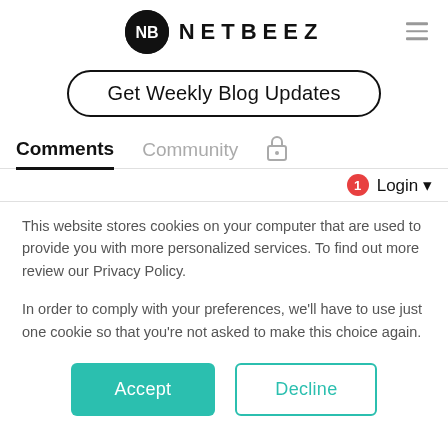NETBEEZ
[Figure (logo): NetBeez logo — black circle with NB monogram in white, followed by NETBEEZ text in bold uppercase letters with wide letter-spacing, and a hamburger menu icon on the right]
Get Weekly Blog Updates
Comments  Community
1  Login
This website stores cookies on your computer that are used to provide you with more personalized services. To find out more review our Privacy Policy.
In order to comply with your preferences, we'll have to use just one cookie so that you're not asked to make this choice again.
Accept  Decline